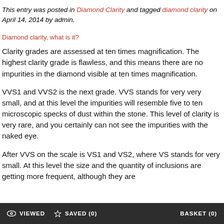This entry was posted in Diamond Clarity and tagged diamond clarity on April 14, 2014 by admin.
Diamond clarity, what is it?
Clarity grades are assessed at ten times magnification. The highest clarity grade is flawless, and this means there are no impurities in the diamond visible at ten times magnification.
VVS1 and VVS2 is the next grade. VVS stands for very very small, and at this level the impurities will resemble five to ten microscopic specks of dust within the stone. This level of clarity is very rare, and you certainly can not see the impurities with the naked eye.
After VVS on the scale is VS1 and VS2, where VS stands for very small. At this level the size and the quantity of inclusions are getting more frequent, although they are
VIEWED   SAVED (0)   BASKET (0)